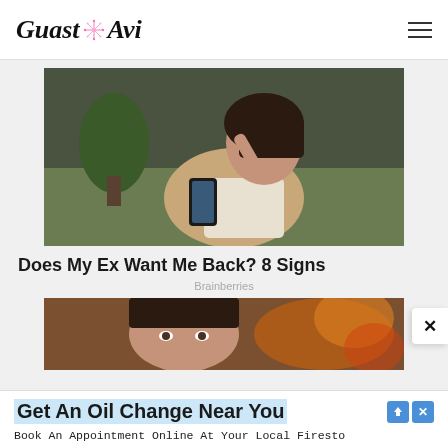Guast Avi
[Figure (photo): Young Asian woman sitting on a couch looking at her phone, hand on forehead, looking distressed]
Does My Ex Want Me Back? 8 Signs
Brainberries
[Figure (photo): Woman with bangs looking at camera with fireplace bokeh background]
Get An Oil Change Near You
Book An Appointment Online At Your Local Firesto
Get Your Complete Service Today.
Firestone
Learn Mo